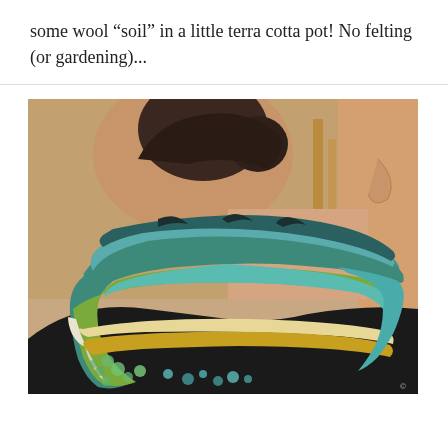some wool “soil” in a little terra cotta pot! No felting (or gardening)...
[Figure (photo): A woman wearing a handmade felted wool collar/neckpiece. The felt is textured and multicolored with teal, green, yellow/gold, and cream tones. The woman is photographed from the side, showing her neck and lower face, wearing a black shirt.]